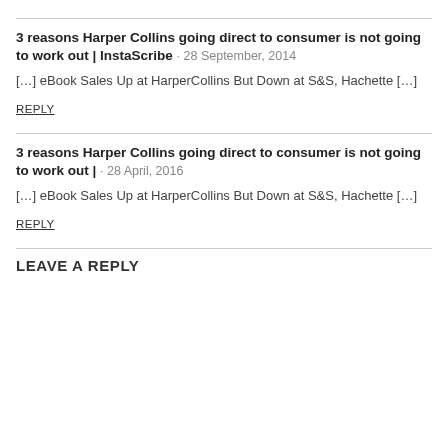3 reasons Harper Collins going direct to consumer is not going to work out | InstaScribe · 28 September, 2014
[…] eBook Sales Up at HarperCollins But Down at S&S, Hachette […]
REPLY
3 reasons Harper Collins going direct to consumer is not going to work out | · 28 April, 2016
[…] eBook Sales Up at HarperCollins But Down at S&S, Hachette […]
REPLY
LEAVE A REPLY